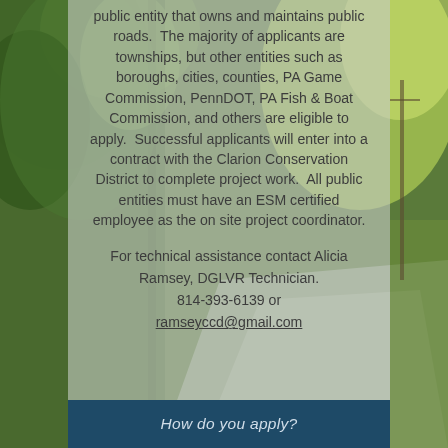[Figure (photo): Background photo of a rural road flanked by green trees and vegetation, sunny day]
public entity that owns and maintains public roads.  The majority of applicants are townships, but other entities such as boroughs, cities, counties, PA Game Commission, PennDOT, PA Fish & Boat Commission, and others are eligible to apply.  Successful applicants will enter into a contract with the Clarion Conservation District to complete project work.  All public entities must have an ESM certified employee as the on site project coordinator.
For technical assistance contact Alicia Ramsey, DGLVR Technician.  814-393-6139 or ramseyccd@gmail.com
How do you apply?